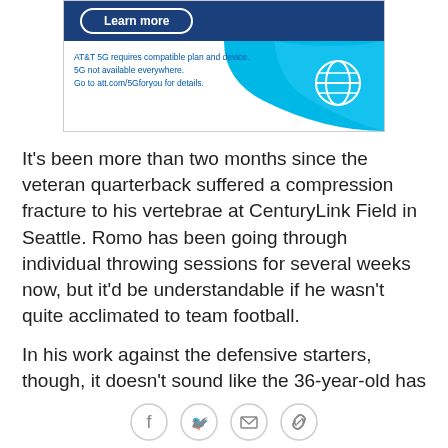[Figure (advertisement): AT&T 5G advertisement banner with 'Learn more' button, blue gradient background, AT&T globe logo, and disclaimer text: 'AT&T 5G requires compatible plan and device. 5G not available everywhere. Go to att.com/5Gforyou for details.']
It's been more than two months since the veteran quarterback suffered a compression fracture to his vertebrae at CenturyLink Field in Seattle. Romo has been going through individual throwing sessions for several weeks now, but it'd be understandable if he wasn't quite acclimated to team football.
In his work against the defensive starters, though, it doesn't sound like the 36-year-old has missed a beat.
"He looks like he hasn't missed a beat," said Sean Lee. "His ability throw the ball – I always say, I've been here
Social share icons: Facebook, Twitter, Email, Link